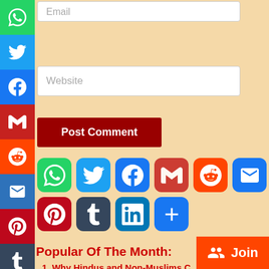[Figure (screenshot): Email input field at top]
[Figure (screenshot): Left sidebar with social media icons: WhatsApp, Twitter, Facebook, Gmail, Reddit, Email, Pinterest, Tumblr, LinkedIn, More]
[Figure (screenshot): Website input field]
[Figure (screenshot): Post Comment button in dark red]
[Figure (screenshot): Large social media icons row 1: WhatsApp, Twitter, Facebook, Gmail, Reddit, Email]
[Figure (screenshot): Large social media icons row 2: Pinterest, Tumblr, LinkedIn, More]
Popular Of The Month:
1. Why Hindus and Non-Muslims C
[Figure (screenshot): Join button at bottom right with group icon]